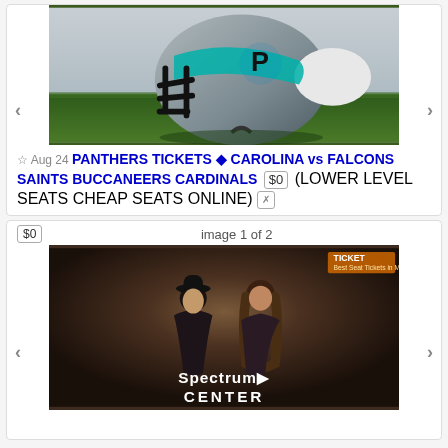[Figure (photo): Carolina Panthers football helmet resting on green grass field]
Aug 24 PANTHERS TICKETS ◆ CAROLINA vs FALCONS SAINTS BUCCANEERS CARDINALS $0 (LOWER LEVEL SEATS CHEAP SEATS ONLINE)
$0  image 1 of 2
[Figure (photo): Two men standing in dramatic lighting, Spectrum Center branding visible at bottom. Ticket sales promotional image.]